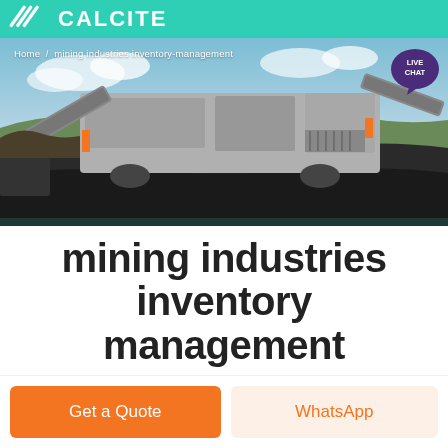[Figure (photo): Mining equipment / industrial crusher/screener machinery on a job site with blue sky background]
Home / mining industries inventory-management
mining industries inventory management
Get a Quote
WhatsApp